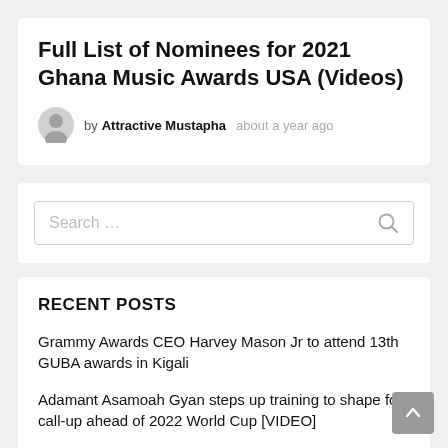Full List of Nominees for 2021 Ghana Music Awards USA (Videos)
by Attractive Mustapha  about a year ago
Search …
RECENT POSTS
Grammy Awards CEO Harvey Mason Jr to attend 13th GUBA awards in Kigali
Adamant Asamoah Gyan steps up training to shape for call-up ahead of 2022 World Cup [VIDEO]
'Graduates without a job, defending people that made them